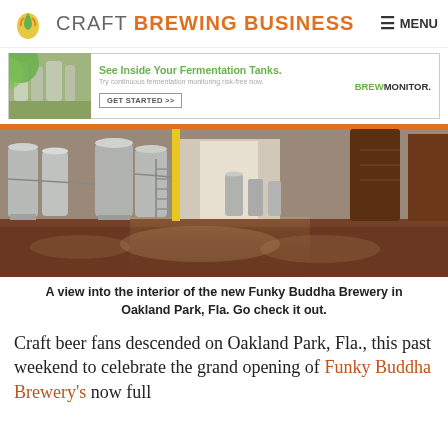CRAFT BREWING BUSINESS  MENU
[Figure (screenshot): Advertisement banner: brewery interior photo on left, text 'See Inside Your Fermentation Tanks. Try continuous fermentation monitoring risk-free now.' with GET STARTED >> button and BREWMONITOR. brand on right]
[Figure (photo): Interior of Funky Buddha Brewery in Oakland Park, Fla. showing stainless steel fermentation tanks, yellow support beams, and a reflective epoxy floor taken from a low angle]
A view into the interior of the new Funky Buddha Brewery in Oakland Park, Fla. Go check it out.
Craft beer fans descended on Oakland Park, Fla., this past weekend to celebrate the grand opening of Funky Buddha Brewery's now full